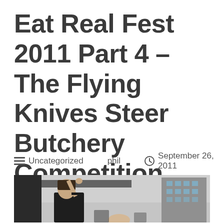Eat Real Fest 2011 Part 4 – The Flying Knives Steer Butchery Competition, continued
Uncategorized   phil   September 26, 2011
[Figure (photo): Outdoor event photo showing a person raising their arm/hand at what appears to be a festival stage or venue, with a building visible in the background under an overcast sky.]